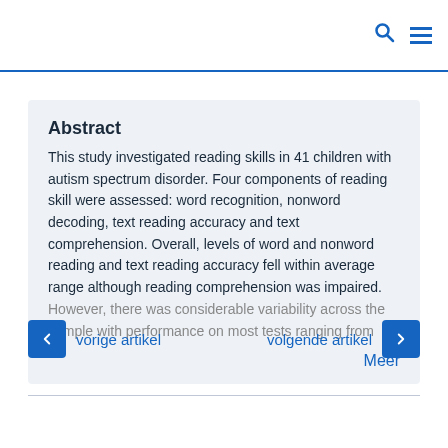Abstract
This study investigated reading skills in 41 children with autism spectrum disorder. Four components of reading skill were assessed: word recognition, nonword decoding, text reading accuracy and text comprehension. Overall, levels of word and nonword reading and text reading accuracy fell within average range although reading comprehension was impaired. However, there was considerable variability across the sample with performance on most tests ranging from
Meer
vorige artikel
volgende artikel